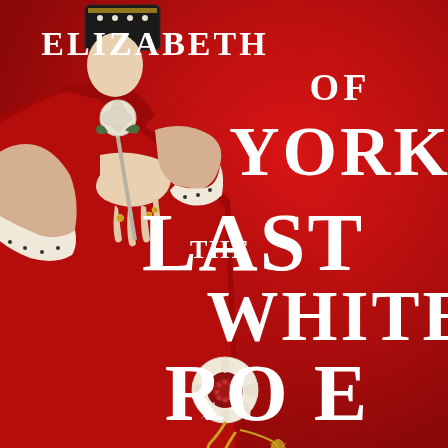[Figure (illustration): Book cover for 'Elizabeth of York: The Last White Rose'. Features a woman in a crimson red brocade dress with ermine-trimmed sleeves, holding a white rose sceptre. The background is vivid red. Large white serif text overlays the right side with the title and author name. A gold and white Tudor rose emblem appears at the bottom center.]